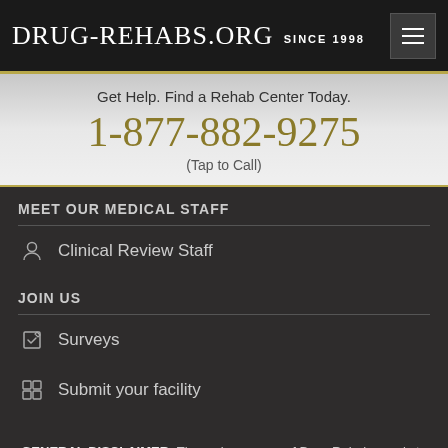Drug-Rehabs.org Since 1998
Get Help. Find a Rehab Center Today.
1-877-882-9275
(Tap to Call)
MEET OUR MEDICAL STAFF
Clinical Review Staff
JOIN US
Surveys
Submit your facility
GENERAL DISCLAIMER: The main purpose of Drug-Rehabs.org is to provide educational services. As such, it is not meant to provide any medical advice. You should, therefore, not use any of the information that you find on Drug-Rehabs.org to diagnose health problems and diseases. This information doesn't substitute or replace